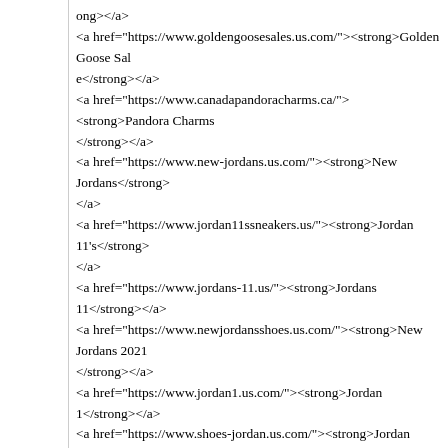ong></a>
<a href="https://www.goldengoosesales.us.com/"><strong>Golden Goose Sale</strong></a>
<a href="https://www.canadapandoracharms.ca/"><strong>Pandora Charms</strong></a>
<a href="https://www.new-jordans.us.com/"><strong>New Jordans</strong></a>
<a href="https://www.jordan11ssneakers.us/"><strong>Jordan 11's</strong></a>
<a href="https://www.jordans-11.us/"><strong>Jordans 11</strong></a>
<a href="https://www.newjordansshoes.us.com/"><strong>New Jordans 2021</strong></a>
<a href="https://www.jordan1.us.com/"><strong>Jordan 1</strong></a>
<a href="https://www.shoes-jordan.us.com/"><strong>Jordan Shoes</strong></a>
<a href="https://www.jordanshoess.us.com/"><strong>Cheap Jordan Shoes For Women</strong></a>
<a href="https://www.nikeairforce1.us.org/"><strong>Nike Air Force</strong></a>
<a href="https://www.nikesoutletstoreonlineshopping.us.com/"><strong>Nike Outlet Store Online Shopping</strong></a>
<a href="https://www.airmax270.us.org/"><strong>Nike Air Max 270</strong></a>
<a href="https://www.goldengoosemidstar.us.com/"><strong>Golden Goose Mid Star</strong></a>